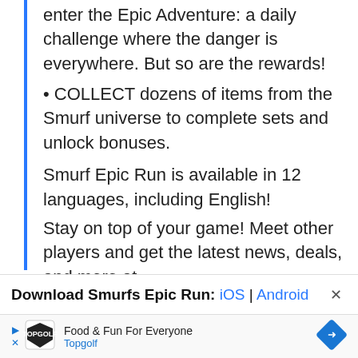enter the Epic Adventure: a daily challenge where the danger is everywhere. But so are the rewards!
• COLLECT dozens of items from the Smurf universe to complete sets and unlock bonuses.
Smurf Epic Run is available in 12 languages, including English!
Stay on top of your game! Meet other players and get the latest news, deals, and more at....
Download Smurfs Epic Run: iOS | Android
[Figure (other): Topgolf advertisement banner with logo, 'Food & Fun For Everyone' tagline and blue diamond navigation icon]